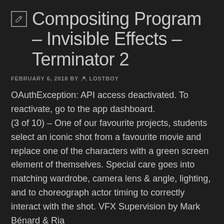Compositing Program – Invisible Effects – Terminator 2
FEBRUARY 6, 2018 BY LOSTBOY
OAuthException: API access deactivated. To reactivate, go to the app dashboard. (3 of 10) – One of our favourite projects, students select an iconic shot from a favourite movie and replace one of the characters with a green screen element of themselves. Special care goes into matching wardrobe, camera lens & angle, lighting, and to choreograph actor timing to correctly interact with the shot. VFX Supervision by Mark Bénard & Ria